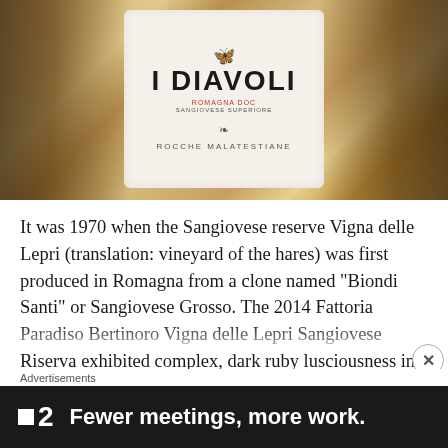[Figure (photo): Close-up photo of a wine bottle label reading 'I DIAVOLI' Romagna DOC Sangiovese Superiore from Rocche Malatestiane, with a small insect illustration at the top, set against a marble/granite countertop background]
It was 1970 when the Sangiovese reserve Vigna delle Lepri (translation: vineyard of the hares) was first produced in Romagna from a clone named “Biondi Santi” or Sangiovese Grosso. The 2014 Fattoria Paradiso Bertinoro Vigna delle Lepri Sangiovese Riserva exhibited complex, dark ruby lusciousness in layers of red berry
Advertisements
[Figure (screenshot): Advertisement banner with dark background showing logo '2' and text 'Fewer meetings, more work.']